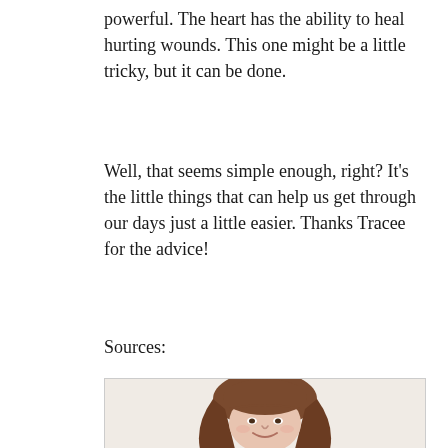powerful. The heart has the ability to heal hurting wounds. This one might be a little tricky, but it can be done.
Well, that seems simple enough, right? It's the little things that can help us get through our days just a little easier. Thanks Tracee for the advice!
Sources:
[Figure (photo): Photo of a smiling woman with long brown hair, shown from the shoulders up, white background]